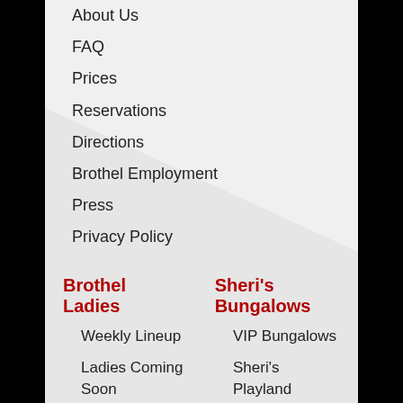About Us
FAQ
Prices
Reservations
Directions
Brothel Employment
Press
Privacy Policy
Brothel Ladies
Sheri's Bungalows
Weekly Lineup
VIP Bungalows
Ladies Coming Soon
Sheri's Playland
Search Ladies
Nuru Massage
Follow Us
Follows